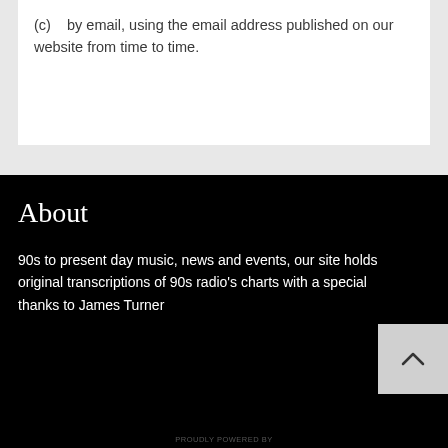(c)    by email, using the email address published on our website from time to time.
About
90s to present day music, news and events, our site holds original transcriptions of 90s radio's charts with a special thanks to James Turner
PROUDLY POWERED BY